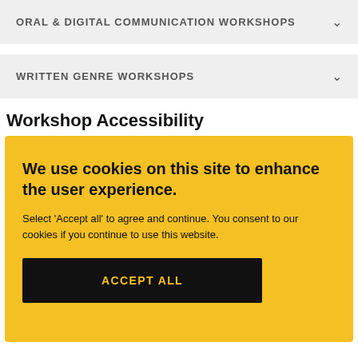ORAL & DIGITAL COMMUNICATION WORKSHOPS
WRITTEN GENRE WORKSHOPS
Workshop Accessibility
We use cookies on this site to enhance the user experience.
Select 'Accept all' to agree and continue. You consent to our cookies if you continue to use this website.
ACCEPT ALL